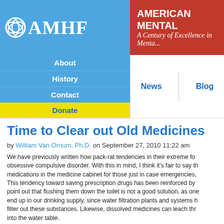AMHF — AMERICAN MENTAL HEALTH FOUNDATION — A Century of Excellence in Mental Health
Time to Clear out Old Medicines
by William Van Ornum, Ph.D. on September 27, 2010 11:22 am
We have previously written how pack-rat tendencies in their extreme form relate to obsessive compulsive disorder. With this in mind, I think it's fair to say that keeping medications in the medicine cabinet for those just in case emergencies, is common. This tendency toward saving prescription drugs has been reinforced by experts who point out that flushing them down the toilet is not a good solution, as one can easily end up in our drinking supply, since water filtration plants and systems have trouble to filter out these substances. Likewise, dissolved medicines can leach through the ground into the water table.
Now the DEA gives us even another good reason to get rid of prescription drugs in a responsible manner: too many young people are finding medicines in the home and experimenting or abusing them:
— The Drug Enforcement Administration urged Americans on Saturday to turn over unused prescription and over-the-counter drugs...